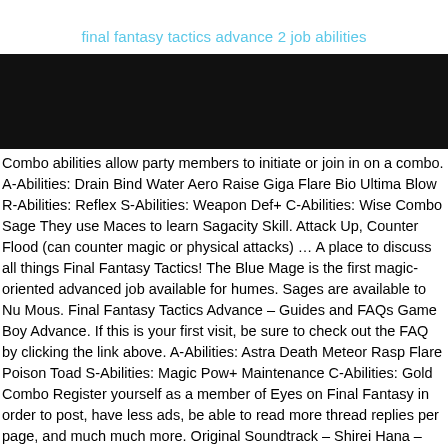final fantasy tactics advance 2 job abilities
[Figure (other): Black banner/header image area]
Combo abilities allow party members to initiate or join in on a combo. A-Abilities: Drain Bind Water Aero Raise Giga Flare Bio Ultima Blow R-Abilities: Reflex S-Abilities: Weapon Def+ C-Abilities: Wise Combo Sage They use Maces to learn Sagacity Skill. Attack Up, Counter Flood (can counter magic or physical attacks) … A place to discuss all things Final Fantasy Tactics! The Blue Mage is the first magic-oriented advanced job available for humes. Sages are available to Nu Mous. Final Fantasy Tactics Advance – Guides and FAQs Game Boy Advance. If this is your first visit, be sure to check out the FAQ by clicking the link above. A-Abilities: Astra Death Meteor Rasp Flare Poison Toad S-Abilities: Magic Pow+ Maintenance C-Abilities: Gold Combo Register yourself as a member of Eyes on Final Fantasy in order to post, have less ads, be able to read more thread replies per page, and much much more. Original Soundtrack – Shirei Hana – White. Best abilities for each job